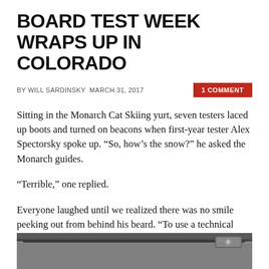BOARD TEST WEEK WRAPS UP IN COLORADO
BY WILL SARDINSKY MARCH 31, 2017
1 COMMENT
Sitting in the Monarch Cat Skiing yurt, seven testers laced up boots and turned on beacons when first-year tester Alex Spectorsky spoke up. “So, how’s the snow?” he asked the Monarch guides.
“Terrible,” one replied.
Everyone laughed until we realized there was no smile peeking out from behind his beard. “To use a technical term, there’s some dust on crust,” he explained. And while the three guides were serious about the conditions, they weren’t going to let snow quality hinder plans to visit the best terrain available.
[Figure (photo): Bottom portion of a snowboard or ski equipment, dark colored, partially visible at the bottom of the page]